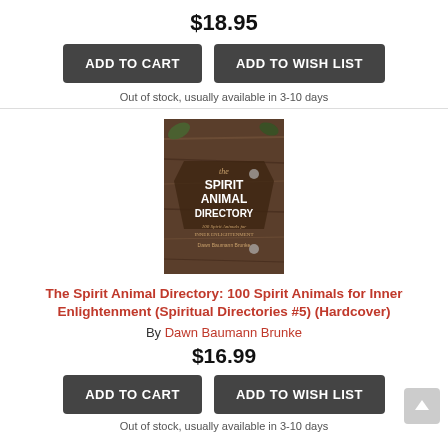$18.95
ADD TO CART
ADD TO WISH LIST
Out of stock, usually available in 3-10 days
[Figure (photo): Book cover of The Spirit Animal Directory: 100 Spirit Animals for Inner Enlightenment by Dawn Baumann Brunke. Shows text on a wood background with botanical elements.]
The Spirit Animal Directory: 100 Spirit Animals for Inner Enlightenment (Spiritual Directories #5) (Hardcover)
By Dawn Baumann Brunke
$16.99
ADD TO CART
ADD TO WISH LIST
Out of stock, usually available in 3-10 days